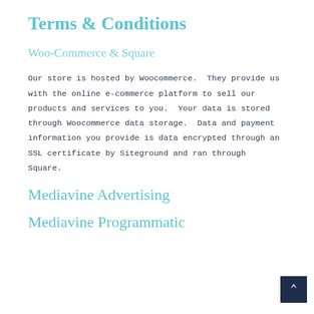Terms & Conditions
Woo-Commerce & Square
Our store is hosted by Woocommerce. They provide us with the online e-commerce platform to sell our products and services to you. Your data is stored through Woocommerce data storage. Data and payment information you provide is data encrypted through an SSL certificate by Siteground and ran through Square.
Mediavine Advertising
Mediavine Programmatic